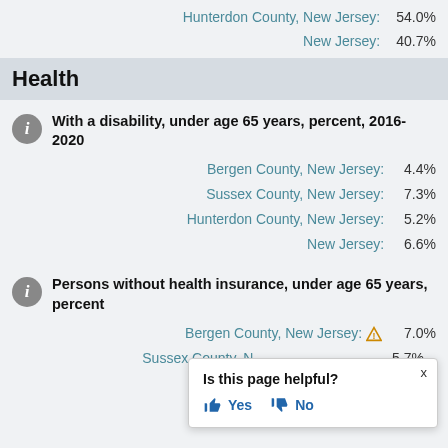Hunterdon County, New Jersey: 54.0%
New Jersey: 40.7%
Health
With a disability, under age 65 years, percent, 2016-2020
Bergen County, New Jersey: 4.4%
Sussex County, New Jersey: 7.3%
Hunterdon County, New Jersey: 5.2%
New Jersey: 6.6%
Persons without health insurance, under age 65 years, percent
Bergen County, New Jersey: 7.0%
Sussex County, New Jersey: 5.7%
Hunterdon County, New Jersey:
Is this page helpful? Yes No